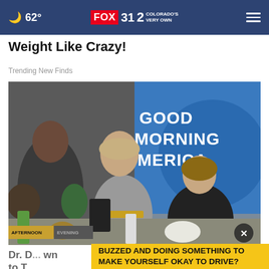62° FOX 31 2 COLORADO'S VERY OWN
Weight Like Crazy!
Trending New Finds
[Figure (photo): Two women on the Good Morning America TV set, with audience members visible and a large 'GOOD MORNING AMERICA' sign in the background. Timeline labels 'AFTERNOON' and 'EVENING' visible at bottom.]
Dr. D... wn to T...
BUZZED AND DOING SOMETHING TO MAKE YOURSELF OKAY TO DRIVE?